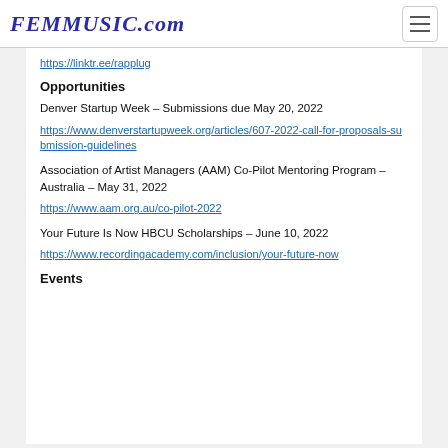FEMMUSIC.com
https://linktr.ee/rapplug
Opportunities
Denver Startup Week – Submissions due May 20, 2022
https://www.denverstartupweek.org/articles/607-2022-call-for-proposals-submission-guidelines
Association of Artist Managers (AAM) Co-Pilot Mentoring Program – Australia – May 31, 2022
https://www.aam.org.au/co-pilot-2022
Your Future Is Now HBCU Scholarships – June 10, 2022
https://www.recordingacademy.com/inclusion/your-future-now
Events